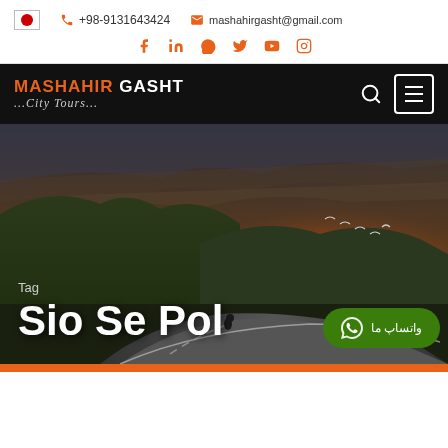+98-9131643424 | mashahirgasht@gmail.com
[Figure (logo): Mashahir Gasht City Tours logo with orange and white text on black background, with search and menu icons]
Tag
Sio Se Pol
[Figure (photo): Scenic road winding through hilly landscape at dusk/sunset with dramatic cloudy sky and a cyclist on the road]
واتساپ ما